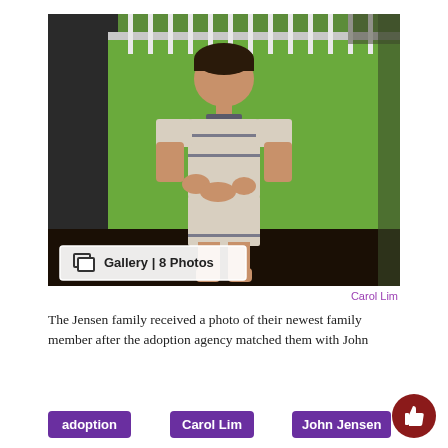[Figure (photo): A young toddler boy standing in front of a green wall with white railing/fence visible at the top. He is wearing a light-colored short-sleeve outfit. There is a 'Gallery | 8 Photos' badge overlaid at the bottom left of the image.]
Carol Lim
The Jensen family received a photo of their newest family member after the adoption agency matched them with John
adoption
Carol Lim
John Jensen